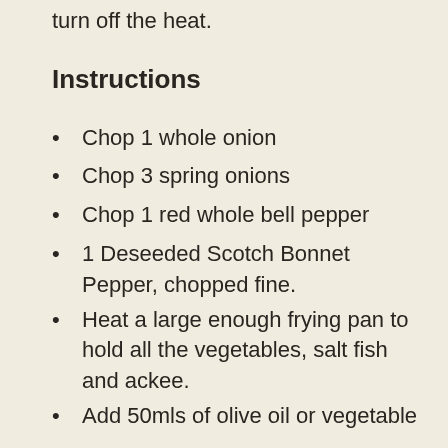turn off the heat.
Instructions
Chop 1 whole onion
Chop 3 spring onions
Chop 1 red whole bell pepper
1 Deseeded Scotch Bonnet Pepper, chopped fine.
Heat a large enough frying pan to hold all the vegetables, salt fish and ackee.
Add 50mls of olive oil or vegetable